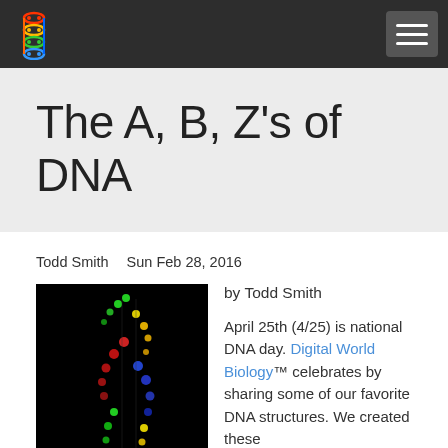The A, B, Z's of DNA
Todd Smith  Sun Feb 28, 2016
[Figure (photo): Colorful 3D rendering of a DNA double helix structure on black background with red, green, blue, and yellow colored nucleotides]
by Todd Smith
April 25th (4/25) is national DNA day. Digital World Biology™ celebrates by sharing some of our favorite DNA structures. We created these photos with Molecule World™ Molecule World is a tools for exploring molecular and chemical structures on an iPhone or iPad.